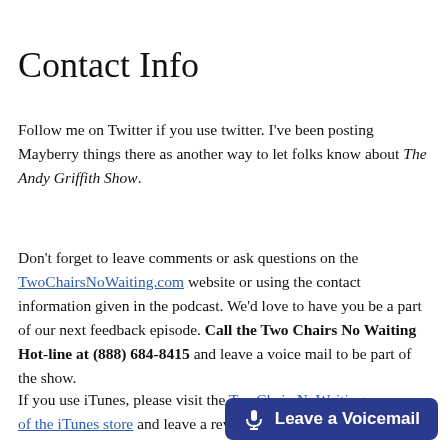Contact Info
Follow me on Twitter if you use twitter. I've been posting Mayberry things there as another way to let folks know about The Andy Griffith Show.
Don't forget to leave comments or ask questions on the TwoChairsNoWaiting.com website or using the contact information given in the podcast. We'd love to have you be a part of our next feedback episode. Call the Two Chairs No Waiting Hot-line at (888) 684-8415 and leave a voice mail to be part of the show.
If you use iTunes, please visit the TwoChairsNoWaiting of the iTunes store and leave a rev...